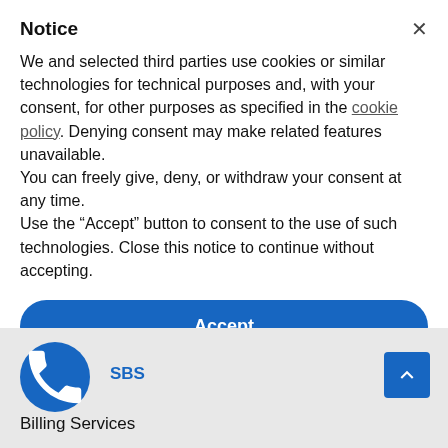Notice
We and selected third parties use cookies or similar technologies for technical purposes and, with your consent, for other purposes as specified in the cookie policy. Denying consent may make related features unavailable.
You can freely give, deny, or withdraw your consent at any time.
Use the “Accept” button to consent to the use of such technologies. Close this notice to continue without accepting.
Accept
Learn more and customize
SBS
Billing Services